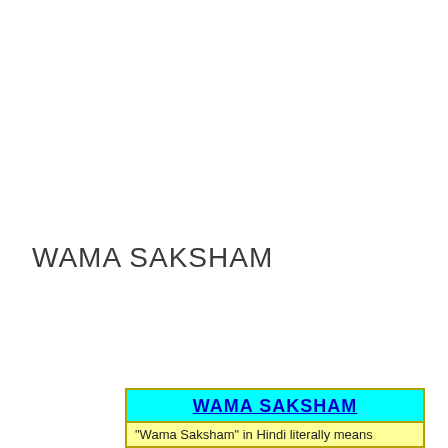WAMA SAKSHAM
[Figure (infographic): Yellow-bordered box with cyan header containing bold underlined text 'WAMA SAKSHAM' and yellow body starting with '"Wama Saksham" in Hindi literally means']